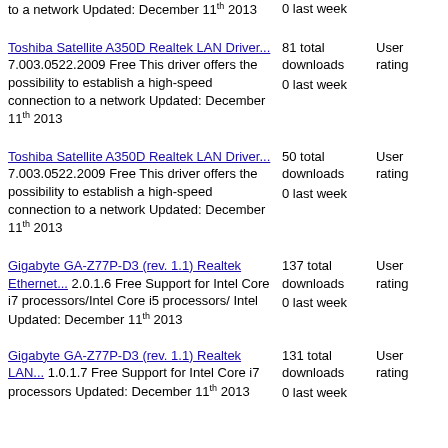to a network Updated: December 11th 2013  0 last week
Toshiba Satellite A350D Realtek LAN Driver... 7.003.0522.2009 Free This driver offers the possibility to establish a high-speed connection to a network Updated: December 11th 2013  81 total downloads  User rating  0 last week
Toshiba Satellite A350D Realtek LAN Driver... 7.003.0522.2009 Free This driver offers the possibility to establish a high-speed connection to a network Updated: December 11th 2013  50 total downloads  User rating  0 last week
Gigabyte GA-Z77P-D3 (rev. 1.1) Realtek Ethernet... 2.0.1.6 Free Support for Intel Core i7 processors/Intel Core i5 processors/ Intel Updated: December 11th 2013  137 total downloads  User rating  0 last week
Gigabyte GA-Z77P-D3 (rev. 1.1) Realtek LAN... 1.0.1.7 Free Support for Intel Core i7 processors Updated: December 11th 2013  131 total downloads  User rating  0 last week